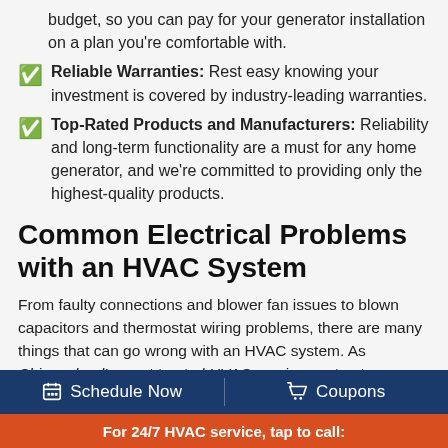budget, so you can pay for your generator installation on a plan you're comfortable with.
Reliable Warranties: Rest easy knowing your investment is covered by industry-leading warranties.
Top-Rated Products and Manufacturers: Reliability and long-term functionality are a must for any home generator, and we're committed to providing only the highest-quality products.
Common Electrical Problems with an HVAC System
From faulty connections and blower fan issues to blown capacitors and thermostat wiring problems, there are many things that can go wrong with an HVAC system. As Chicagoland's most trusted HVAC service contractor, we have decades of expertise on these issues and more. We're ready to find solutions to your HVAC electrical concerns!
Schedule Now | Coupons
For 24/7 HVAC service, tap to call: